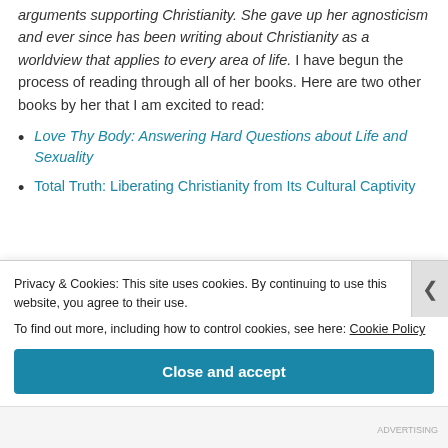arguments supporting Christianity. She gave up her agnosticism and ever since has been writing about Christianity as a worldview that applies to every area of life. I have begun the process of reading through all of her books. Here are two other books by her that I am excited to read:
Love Thy Body: Answering Hard Questions about Life and Sexuality
Total Truth: Liberating Christianity from Its Cultural Captivity
Privacy & Cookies: This site uses cookies. By continuing to use this website, you agree to their use. To find out more, including how to control cookies, see here: Cookie Policy
Close and accept